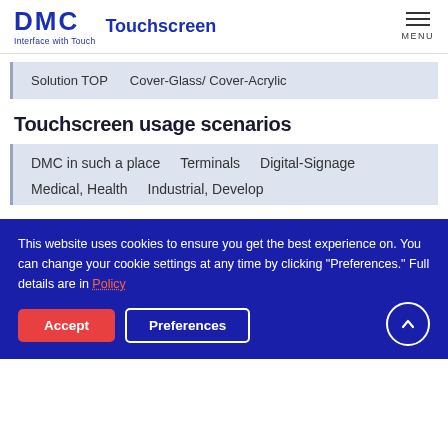DMC Touchscreen — Interface with Touch | MENU
Solution TOP   Cover-Glass/ Cover-Acrylic
Touchscreen usage scenarios
DMC in such a place   Terminals   Digital-Signage
Medical, Health   Industrial, Develop
This website uses cookies to ensure you get the best experience on. You can change your cookie settings at any time by clicking "Preferences." Full details are in Policy
Accept   Preferences